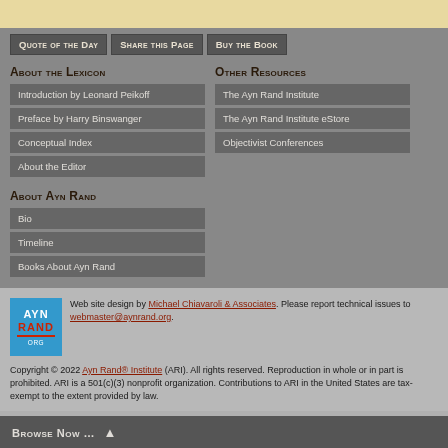Quote of the Day
Share this Page
Buy the Book
About the Lexicon
Introduction by Leonard Peikoff
Preface by Harry Binswanger
Conceptual Index
About the Editor
Other Resources
The Ayn Rand Institute
The Ayn Rand Institute eStore
Objectivist Conferences
About Ayn Rand
Bio
Timeline
Books About Ayn Rand
Web site design by Michael Chiavaroli & Associates. Please report technical issues to webmaster@aynrand.org.
Copyright © 2022 Ayn Rand® Institute (ARI). All rights reserved. Reproduction in whole or in part is prohibited. ARI is a 501(c)(3) nonprofit organization. Contributions to ARI in the United States are tax-exempt to the extent provided by law.
Browse Now …